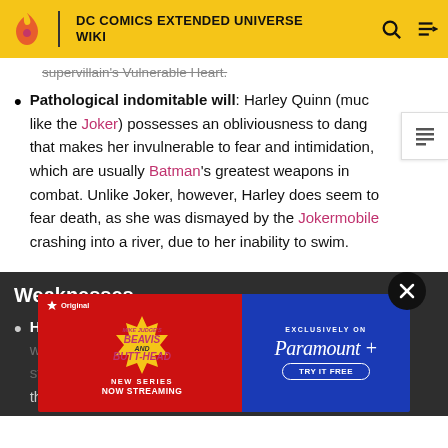DC COMICS EXTENDED UNIVERSE WIKI
supervillain's Vulnerable Heart.
Pathological indomitable will: Harley Quinn (much like the Joker) possesses an obliviousness to danger that makes her invulnerable to fear and intimidation, which are usually Batman's greatest weapons in combat. Unlike Joker, however, Harley does seem to fear death, as she was dismayed by the Jokermobile crashing into a river, due to her inability to swim.
Weaknesses
Hu... (partial) ...st weakness... ...ced str... ...ers, therefore making her quite vulnerable to the physical
[Figure (screenshot): Advertisement banner for Beavis and Butt-Head new series on Paramount+, with red left side showing Beavis and Butt-Head starburst logo and blue right side showing Paramount+ exclusively on / try it free]